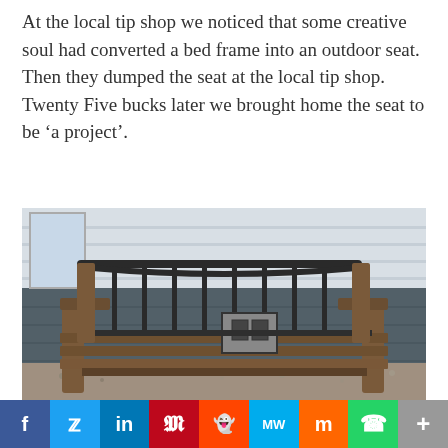At the local tip shop we noticed that some creative soul had converted a bed frame into an outdoor seat. Then they dumped the seat at the local tip shop. Twenty Five bucks later we brought home the seat to be ‘a project’.
[Figure (photo): Outdoor wooden bench seat made from a converted metal bed frame, sitting against a grey and white siding wall on a gravel surface.]
f  Twitter  in  P  Reddit  MW  Mix  WhatsApp  +